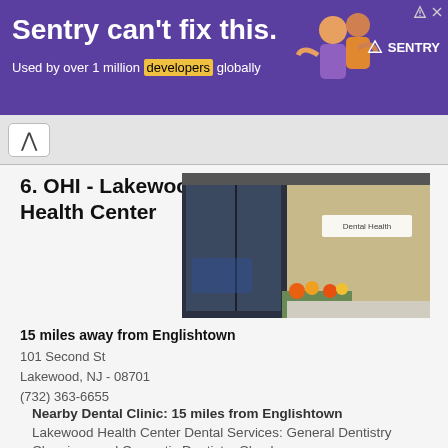[Figure (screenshot): Advertisement banner: purple background, text 'Sentry can't fix this.' in white bold, 'Used by over 1 million developers globally' with 'developers' highlighted in yellow, Sentry logo on right, decorative figures graphic]
6. OHI - Lakewood Health Center
[Figure (photo): Exterior photo of OHI - Lakewood Health Center building showing glass-fronted entrance on left and tan/beige brick structure on right with 'Dental Health' sign, flowers in foreground]
15 miles away from Englishtown
101 Second St
Lakewood, NJ - 08701
(732) 363-6655
Nearby Dental Clinic: 15 miles from Englishtown
Lakewood Health Center Dental Services: General Dentistry Cleanings and Cosmetic Dentistry Check...